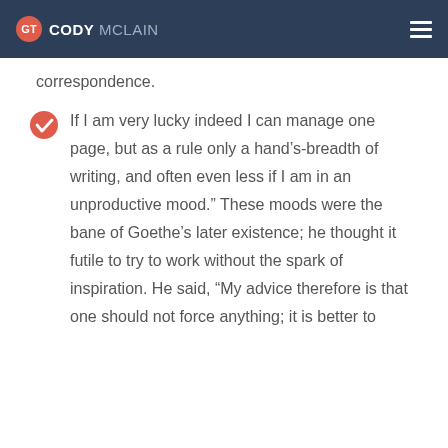CODY MCLAIN
correspondence.
If I am very lucky indeed I can manage one page, but as a rule only a hand's-breadth of writing, and often even less if I am in an unproductive mood.” These moods were the bane of Goethe’s later existence; he thought it futile to try to work without the spark of inspiration. He said, “My advice therefore is that one should not force anything; it is better to